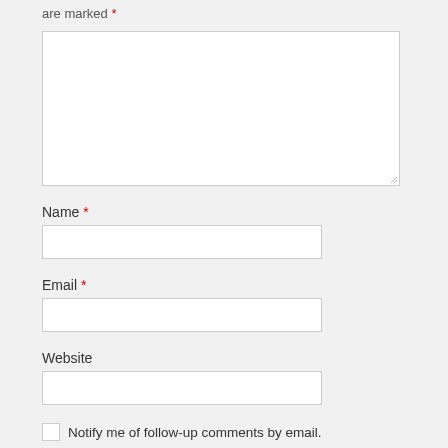are marked *
[Figure (other): Large empty textarea input box with resize handle]
Name *
[Figure (other): Single-line text input box for Name]
Email *
[Figure (other): Single-line text input box for Email]
Website
[Figure (other): Single-line text input box for Website]
Notify me of follow-up comments by email.